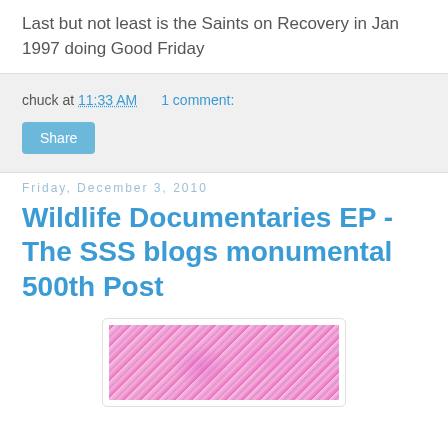Last but not least is the Saints on Recovery in Jan 1997 doing Good Friday
chuck at 11:33 AM    1 comment:
Share
Friday, December 3, 2010
Wildlife Documentaries EP - The SSS blogs monumental 500th Post
[Figure (photo): Pink/magenta toned abstract textured image, likely an album cover or artwork]